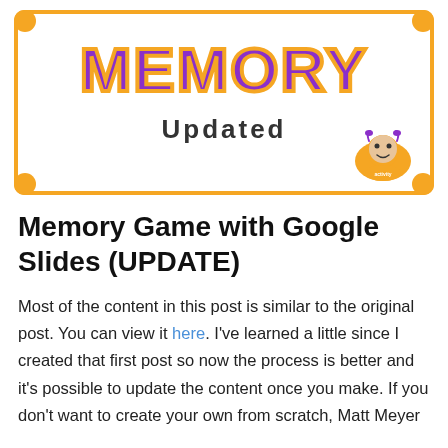[Figure (illustration): Banner image with orange border, rounded corners, purple bold 'MEMORY' text with orange stroke, and 'Updated' subtitle below. Small circular logo with cartoon character in bottom-right corner.]
Memory Game with Google Slides (UPDATE)
Most of the content in this post is similar to the original post. You can view it here. I've learned a little since I created that first post so now the process is better and it's possible to update the content once you make. If you don't want to create your own from scratch, Matt Meyer